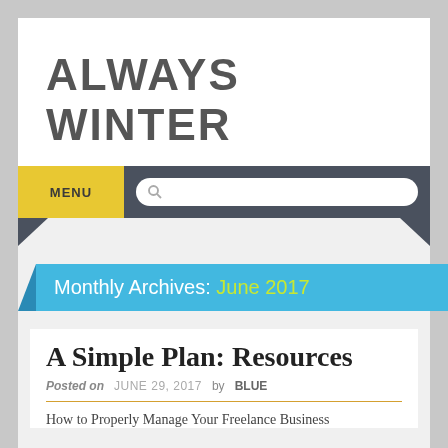ALWAYS WINTER
MENU
Monthly Archives: June 2017
A Simple Plan: Resources
Posted on JUNE 29, 2017 by BLUE
How to Properly Manage Your Freelance Business